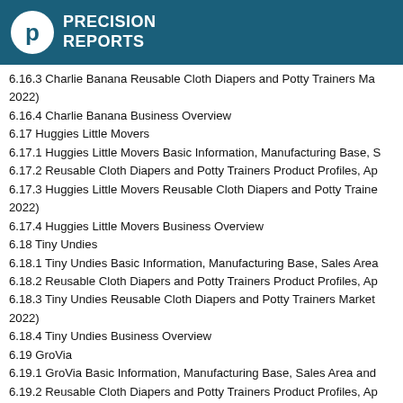PRECISION REPORTS
6.16.3 Charlie Banana Reusable Cloth Diapers and Potty Trainers Ma… 2022)
6.16.4 Charlie Banana Business Overview
6.17 Huggies Little Movers
6.17.1 Huggies Little Movers Basic Information, Manufacturing Base, S…
6.17.2 Reusable Cloth Diapers and Potty Trainers Product Profiles, Ap…
6.17.3 Huggies Little Movers Reusable Cloth Diapers and Potty Traine… 2022)
6.17.4 Huggies Little Movers Business Overview
6.18 Tiny Undies
6.18.1 Tiny Undies Basic Information, Manufacturing Base, Sales Area…
6.18.2 Reusable Cloth Diapers and Potty Trainers Product Profiles, Ap…
6.18.3 Tiny Undies Reusable Cloth Diapers and Potty Trainers Market… 2022)
6.18.4 Tiny Undies Business Overview
6.19 GroVia
6.19.1 GroVia Basic Information, Manufacturing Base, Sales Area and…
6.19.2 Reusable Cloth Diapers and Potty Trainers Product Profiles, Ap…
6.19.3 GroVia Reusable Cloth Diapers and Potty Trainers Market Perfo… 2022)